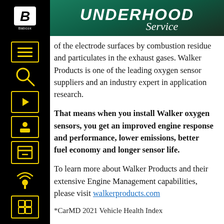UNDERHOOD Service
of the electrode surfaces by combustion residue and particulates in the exhaust gases. Walker Products is one of the leading oxygen sensor suppliers and an industry expert in application research.
That means when you install Walker oxygen sensors, you get an improved engine response and performance, lower emissions, better fuel economy and longer sensor life.
To learn more about Walker Products and their extensive Engine Management capabilities, please visit walkerproducts.com
*CarMD 2021 Vehicle Health Index